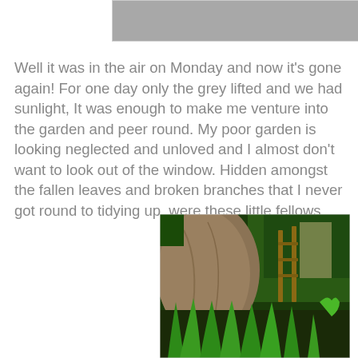[Figure (photo): Partial view of a photo at the top of the page, showing a grey/neutral background - appears to be a cropped garden or outdoor scene]
Well it was in the air on Monday and now it's gone again! For one day only the grey lifted and we had sunlight, It was enough to make me venture into the garden and peer round. My poor garden is looking neglected and unloved and I almost don't want to look out of the window. Hidden amongst the fallen leaves and broken branches that I never got round to tidying up, were these little fellows....
[Figure (photo): Photograph of a garden showing a large tree trunk on the left, green leafy plants emerging from the ground in the foreground, wooden trellis or fence structure in the background right, and dense green foliage behind]